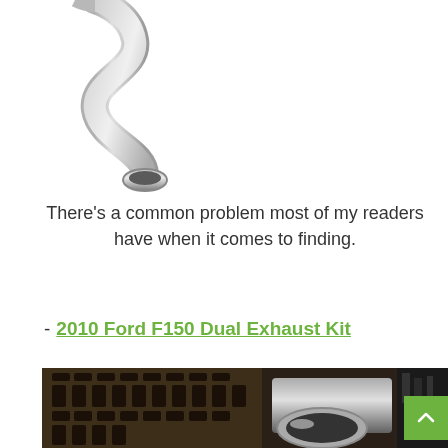[Figure (photo): Exhaust pipe component shown against white background, cropped at top of page]
There's a common problem most of my readers have when it comes to finding.
- 2010 Ford F150 Dual Exhaust Kit
[Figure (photo): Under-vehicle photo showing tire tread and chrome exhaust pipe/tip, with green scroll-to-top button overlay]